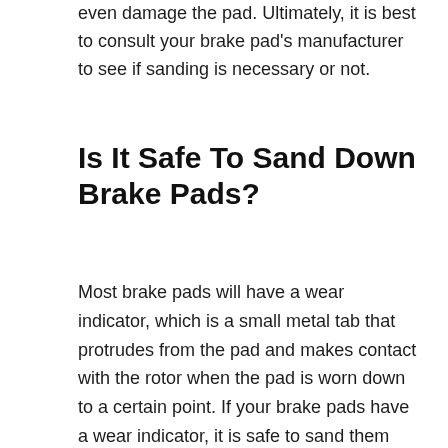even damage the pad. Ultimately, it is best to consult your brake pad's manufacturer to see if sanding is necessary or not.
Is It Safe To Sand Down Brake Pads?
Most brake pads will have a wear indicator, which is a small metal tab that protrudes from the pad and makes contact with the rotor when the pad is worn down to a certain point. If your brake pads have a wear indicator, it is safe to sand them down until the indicator is level with the pad. If your brake pads do not have a wear indicator, you can